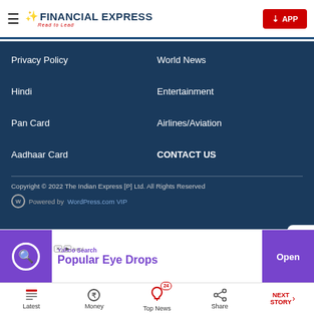FINANCIAL EXPRESS — Read to Lead
Privacy Policy
World News
Hindi
Entertainment
Pan Card
Airlines/Aviation
Aadhaar Card
CONTACT US
Copyright © 2022 The Indian Express [P] Ltd. All Rights Reserved
Powered by WordPress.com VIP
[Figure (screenshot): Yahoo Search advertisement banner showing 'Popular Eye Drops' with Open button]
Latest | Money | Top News (24) | Share | NEXT STORY